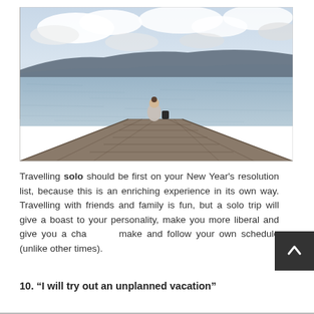[Figure (photo): A person sitting at the end of a wooden dock/pier extending over a calm lake, with mountains and cloudy sky in the background. The person is viewed from behind and there appears to be a bag next to them.]
Travelling solo should be first on your New Year's resolution list, because this is an enriching experience in its own way. Travelling with friends and family is fun, but a solo trip will give a boast to your personality, make you more liberal and give you a chance to make and follow your own schedule (unlike other times).
10. “I will try out an unplanned vacation”